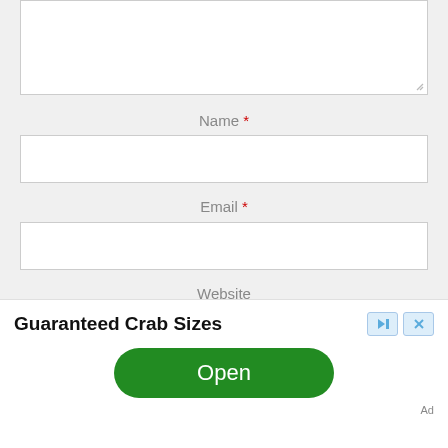[Figure (screenshot): Web form textarea input box (partially visible, top portion cut off)]
Name *
[Figure (screenshot): Name input field (empty text box)]
Email *
[Figure (screenshot): Email input field (empty text box)]
Website
[Figure (screenshot): Website input field (partially visible, cut off at bottom)]
Guaranteed Crab Sizes
Open
Ad